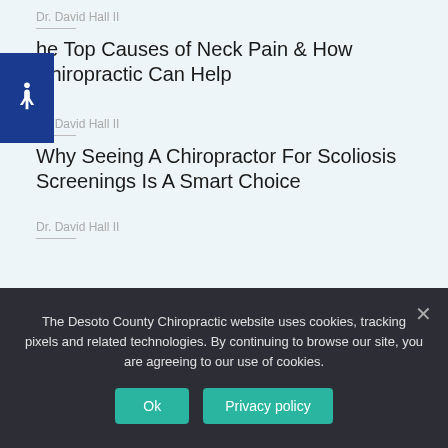Dr. David Hall II
The Top Causes of Neck Pain & How Chiropractic Can Help
Dr. David Hall II
Why Seeing A Chiropractor For Scoliosis Screenings Is A Smart Choice
Dr. David Hall II
The Desoto County Chiropractic website uses cookies, tracking pixels and related technologies. By continuing to browse our site, you are agreeing to our use of cookies.